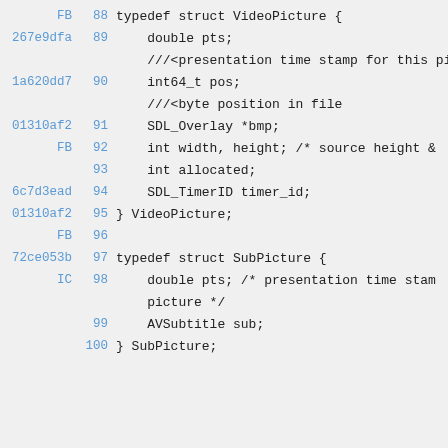Code listing showing C struct definitions for VideoPicture and SubPicture, lines 88-100, with git blame hashes and change markers FB/IC.